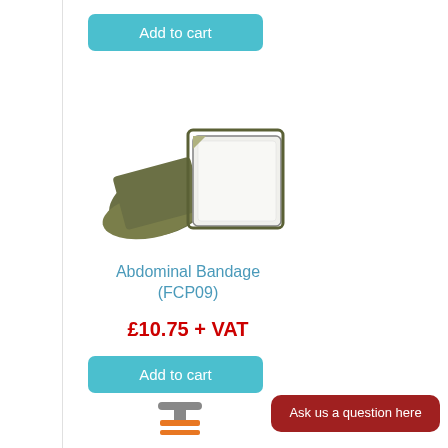[Figure (other): Add to cart button (teal/blue rounded rectangle)]
[Figure (photo): Photo of an Abdominal Bandage product (FCP09) - olive green bandage with white pad]
Abdominal Bandage (FCP09)
£10.75 + VAT
[Figure (other): Add to cart button (teal/blue rounded rectangle)]
[Figure (photo): Partial photo of another product at bottom of page]
Ask us a question here